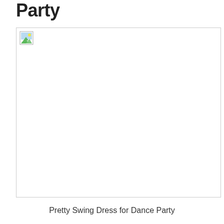Party
[Figure (photo): A broken/missing image placeholder icon with a border, representing a photo of a Pretty Swing Dress for Dance Party]
Pretty Swing Dress for Dance Party